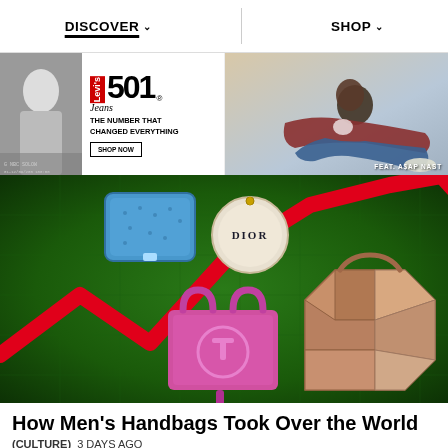DISCOVER ∨   SHOP ∨
[Figure (photo): Levi's 501 Jeans advertisement: black and white photo of a person on the left, red Levi's badge logo, '501 Jeans' text, tagline 'THE NUMBER THAT CHANGED EVERYTHING', and 'SHOP NOW' button]
[Figure (photo): Fashion advertisement featuring A$AP Nast reclining in Levi's jeans, casual colorful outfit, light background, text 'FEAT. ASAP NAST' in bottom right]
[Figure (photo): Editorial illustration on green background with a red zigzag line graph overlay, showing three luxury handbags: a blue clutch, a pink Telfar shopping bag, and a tan Loewe Puzzle bag, with a circular Dior pendant]
How Men's Handbags Took Over the World
(CULTURE)  3 DAYS AGO